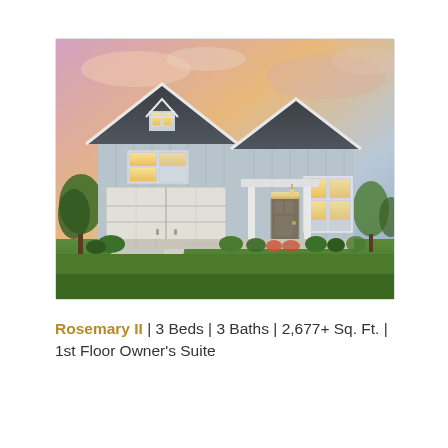[Figure (photo): Exterior rendering of the Rosemary II home model — a two-story craftsman-style house with gray board-and-batten siding, white trim, a two-car garage, covered front porch with columns, dormer window, dark gray roof, and landscaped front yard with lawn and shrubs. Warm sunset sky in the background.]
Rosemary II | 3 Beds | 3 Baths | 2,677+ Sq. Ft. | 1st Floor Owner's Suite